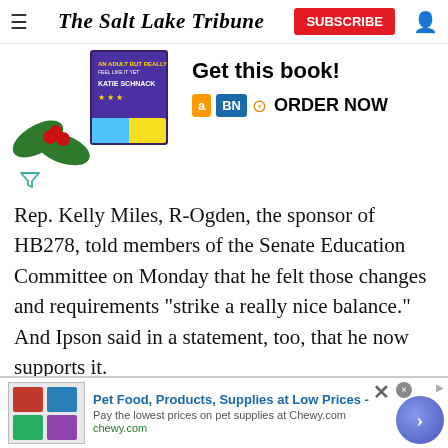The Salt Lake Tribune
[Figure (screenshot): Book advertisement banner with book cover image for Katie Schnack, holly decoration, Amazon/BN/Kindle order buttons, and 'Get this book! ORDER NOW' text]
[Figure (other): Filter/funnel icon in teal color]
Rep. Kelly Miles, R-Ogden, the sponsor of HB278, told members of the Senate Education Committee on Monday that he felt those changes and requirements “strike a really nice balance.” And Ipson said in a statement, too, that he now supports it.
[Figure (screenshot): Chewy.com advertisement: Pet Food, Products, Supplies at Low Prices - Pay the lowest prices on pet supplies at Chewy.com]